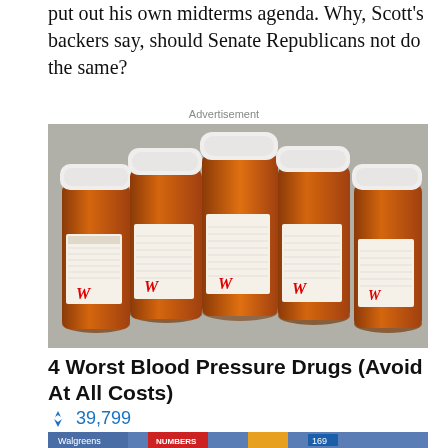put out his own midterms agenda. Why, Scott's backers say, should Senate Republicans not do the same?
Advertisement
[Figure (photo): Five orange prescription pill bottles with white caps and pharmacy labels, lying on a gray surface]
4 Worst Blood Pressure Drugs (Avoid At All Costs)
🔥 39,799
[Figure (photo): Partial image of a store or gas station exterior with signage visible at the bottom of the page]